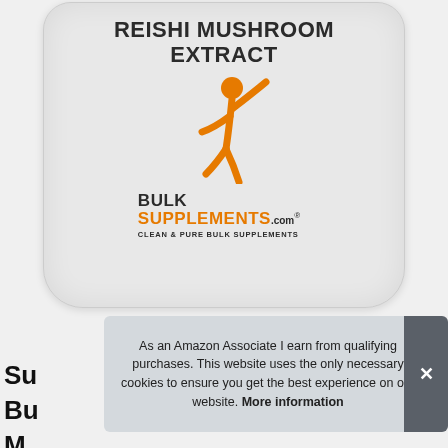[Figure (photo): BulkSupplements.com Reishi Mushroom Extract product bag with orange stick figure logo on white/grey background]
As an Amazon Associate I earn from qualifying purchases. This website uses the only necessary cookies to ensure you get the best experience on our website. More information
Su... Bu... Mushroom Extract Powder, 2.2 lbs,